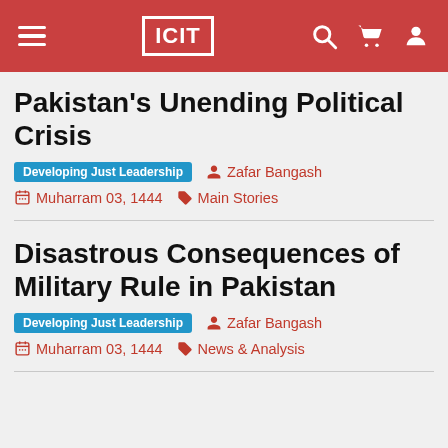ICIT
Pakistan’s Unending Political Crisis
Developing Just Leadership   Zafar Bangash   Muharram 03, 1444   Main Stories
Disastrous Consequences of Military Rule in Pakistan
Developing Just Leadership   Zafar Bangash   Muharram 03, 1444   News & Analysis